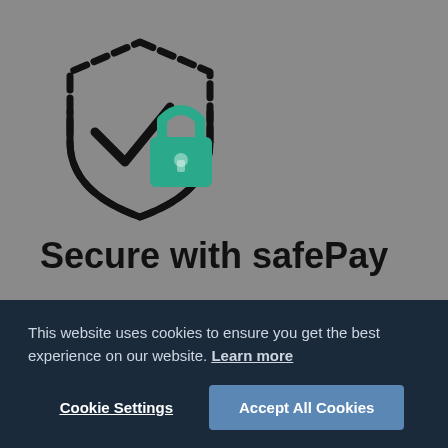[Figure (logo): Shield with checkmark and teal padlock icon representing safePay security]
Secure with safePay
You can use our modern and free escrow service designed to securely help you with payments. Choose a Spelling freelancer to work with, transfer the agreed funds to the Spelling project
This website uses cookies to ensure you get the best experience on our website. Learn more
Cookie Settings
Accept All Cookies